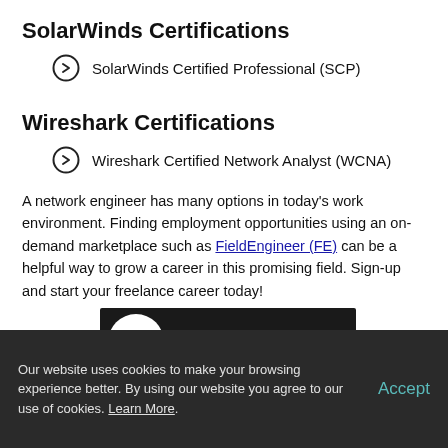SolarWinds Certifications
SolarWinds Certified Professional (SCP)
Wireshark Certifications
Wireshark Certified Network Analyst (WCNA)
A network engineer has many options in today's work environment. Finding employment opportunities using an on-demand marketplace such as FieldEngineer (FE) can be a helpful way to grow a career in this promising field. Sign-up and start your freelance career today!
[Figure (screenshot): Video thumbnail showing FE (Field Engineer) logo and 'Explore new Op...' title on dark background]
Our website uses cookies to make your browsing experience better. By using our website you agree to our use of cookies. Learn More.